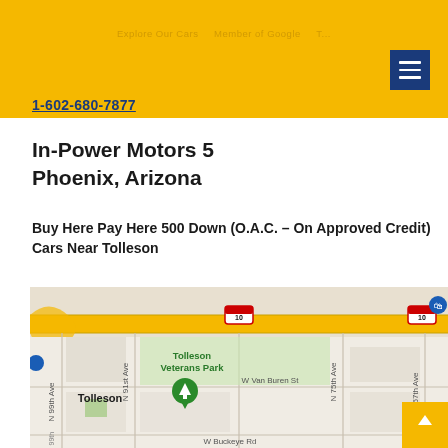Explore Our Cars   Member of Google   T...
1-602-680-7877
In-Power Motors 5
Phoenix, Arizona
Buy Here Pay Here 500 Down (O.A.C. – On Approved Credit) Cars Near Tolleson
[Figure (map): Google Maps screenshot showing Tolleson, Arizona area with Tolleson Veterans Park, streets including N 99th Ave, N 91st Ave, N 75th Ave, N 67th Ave, W Van Buren St, W Buckeye Rd, Interstate 10 running east-west, and a green location pin marker at Tolleson Veterans Park.]